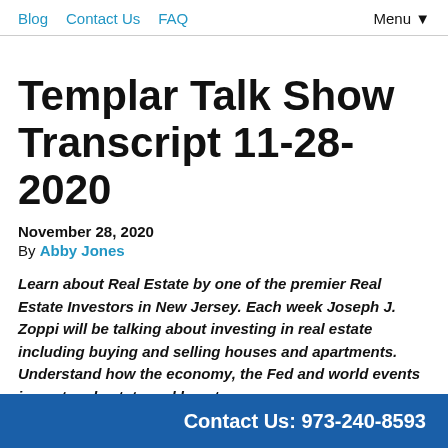Blog  Contact Us  FAQ  Menu ▼
Templar Talk Show Transcript 11-28-2020
November 28, 2020
By Abby Jones
Learn about Real Estate by one of the premier Real Estate Investors in New Jersey. Each week Joseph J. Zoppi will be talking about investing in real estate including buying and selling houses and apartments. Understand how the economy, the Fed and world events impact real estate and how to
Contact Us: 973-240-8593